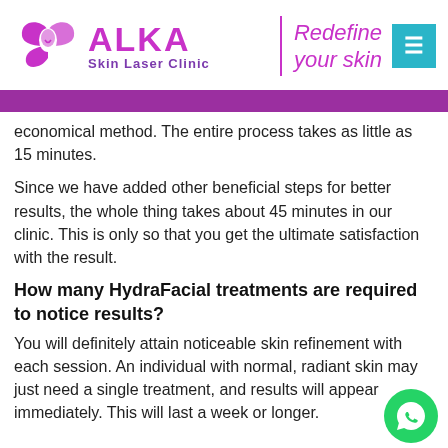[Figure (logo): Alka Skin Laser Clinic logo with purple butterfly/face icon, ALKA text in magenta, 'Skin Laser Clinic' subtitle, vertical divider, and 'Redefine your skin' tagline in magenta italic. Teal menu button top right.]
economical method. The entire process takes as little as 15 minutes.
Since we have added other beneficial steps for better results, the whole thing takes about 45 minutes in our clinic. This is only so that you get the ultimate satisfaction with the result.
How many HydraFacial treatments are required to notice results?
You will definitely attain noticeable skin refinement with each session. An individual with normal, radiant skin may just need a single treatment, and results will appear immediately. This will last a week or longer.